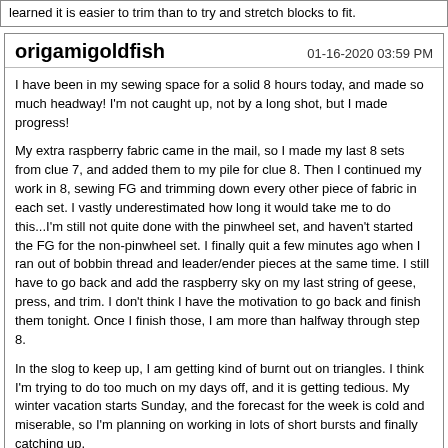learned it is easier to trim than to try and stretch blocks to fit.
origamigoldfish
01-16-2020 03:59 PM
I have been in my sewing space for a solid 8 hours today, and made so much headway! I'm not caught up, not by a long shot, but I made progress!
My extra raspberry fabric came in the mail, so I made my last 8 sets from clue 7, and added them to my pile for clue 8. Then I continued my work in 8, sewing FG and trimming down every other piece of fabric in each set. I vastly underestimated how long it would take me to do this...I'm still not quite done with the pinwheel set, and haven't started the FG for the non-pinwheel set. I finally quit a few minutes ago when I ran out of bobbin thread and leader/ender pieces at the same time. I still have to go back and add the raspberry sky on my last string of geese, press, and trim. I don't think I have the motivation to go back and finish them tonight. Once I finish those, I am more than halfway through step 8.
In the slog to keep up, I am getting kind of burnt out on triangles. I think I'm trying to do too much on my days off, and it is getting tedious. My winter vacation starts Sunday, and the forecast for the week is cold and miserable, so I'm planning on working in lots of short bursts and finally catching up.
I'm enjoying the color combinations, although I'm curious how the neutrals will play in and how much they will tone down some of the 'busy' in my colors.